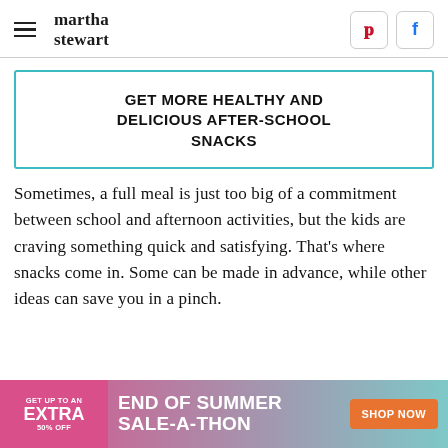martha stewart
GET MORE HEALTHY AND DELICIOUS AFTER-SCHOOL SNACKS
Sometimes, a full meal is just too big of a commitment between school and afternoon activities, but the kids are craving something quick and satisfying. That's where snacks come in. Some can be made in advance, while other ideas can save you in a pinch.
[Figure (infographic): Advertisement banner: GET UP TO AN EXTRA 50% OFF — END OF SUMMER SALE-A-THON — SHOP NOW button]